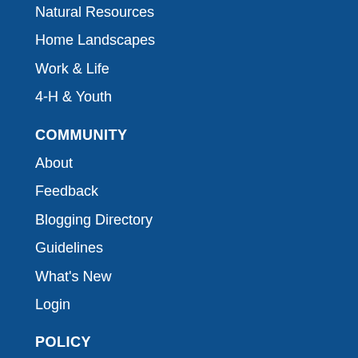Natural Resources
Home Landscapes
Work & Life
4-H & Youth
COMMUNITY
About
Feedback
Blogging Directory
Guidelines
What's New
Login
POLICY
UF Privacy
SSN Privacy
Google Privacy
IFAS Web Policy